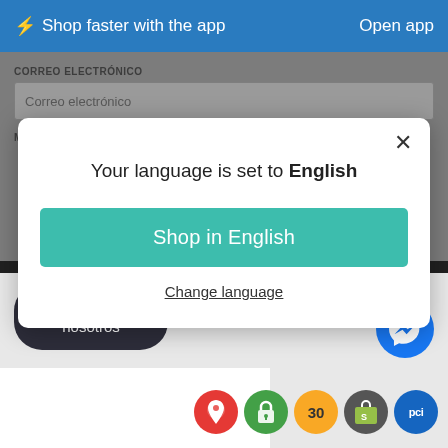⚡Shop faster with the app   Open app
CORREO ELECTRÓNICO
Correo electrónico
MENSAJE
Your language is set to English
Shop in English
Change language
Chatea con nosotros